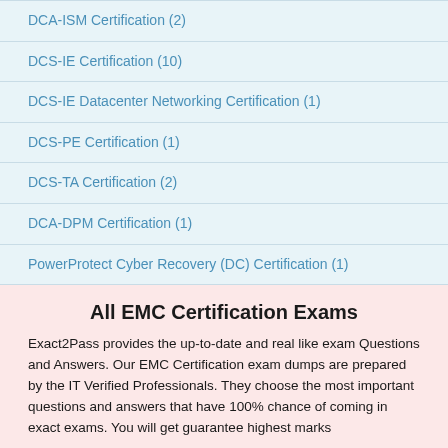DCA-ISM Certification (2)
DCS-IE Certification (10)
DCS-IE Datacenter Networking Certification (1)
DCS-PE Certification (1)
DCS-TA Certification (2)
DCA-DPM Certification (1)
PowerProtect Cyber Recovery (DC) Certification (1)
All EMC Certification Exams
Exact2Pass provides the up-to-date and real like exam Questions and Answers. Our EMC Certification exam dumps are prepared by the IT Verified Professionals. They choose the most important questions and answers that have 100% chance of coming in exact exams. You will get guarantee highest marks